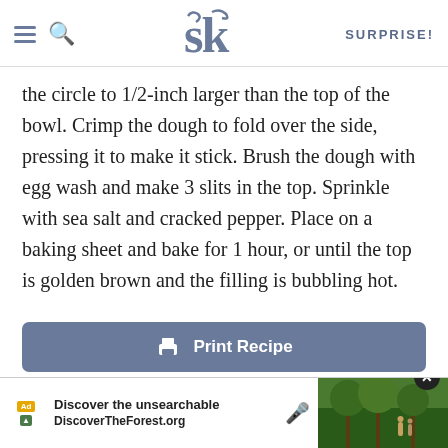SK SURPRISE!
the circle to 1/2-inch larger than the top of the bowl. Crimp the dough to fold over the side, pressing it to make it stick. Brush the dough with egg wash and make 3 slits in the top. Sprinkle with sea salt and cracked pepper. Place on a baking sheet and bake for 1 hour, or until the top is golden brown and the filling is bubbling hot.
Print Recipe
Email Recipe
Save to Pinterest
[Figure (screenshot): Advertisement banner: Discover the unsearchable / DiscoverTheForest.org with forest/hiking photo]